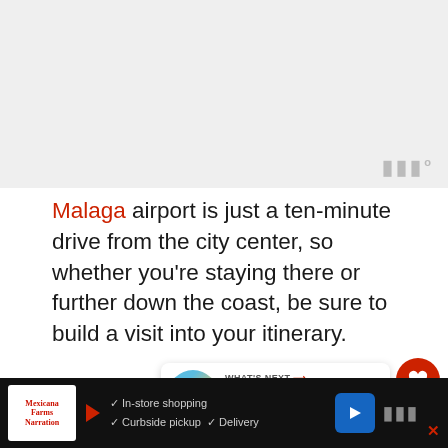[Figure (photo): Light gray placeholder image area at top of page, partially visible]
Malaga airport is just a ten-minute drive from the city center, so whether you're staying there or further down the coast, be sure to build a visit into your itinerary.
With an unbeatable selection of mu... and restaurants, the famous Feria de Malaga in...
[Figure (infographic): What's Next promotional box showing 14 Best Beach Resorts Nea... with circular beach photo]
[Figure (infographic): Bottom advertisement bar with Mexicana Farms logo, in-store shopping, curbside pickup, delivery checklist, navigation button, and watermark]